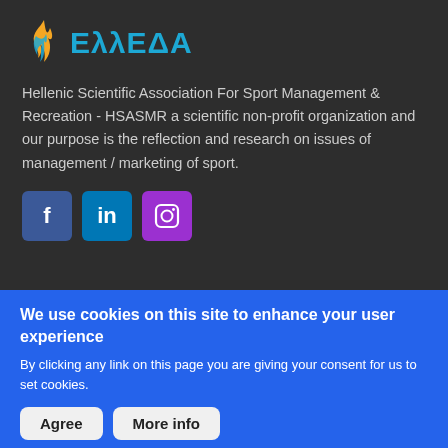[Figure (logo): ΕλλΕΔΑ organization logo with flame icon and blue text]
Hellenic Scientific Association For Sport Management & Recreation - HSASMR a scientific non-profit organization and our purpose is the reflection and research on issues of management / marketing of sport.
[Figure (infographic): Social media icons: Facebook (blue), LinkedIn (blue), Instagram (purple)]
We use cookies on this site to enhance your user experience
By clicking any link on this page you are giving your consent for us to set cookies.
Agree    More info